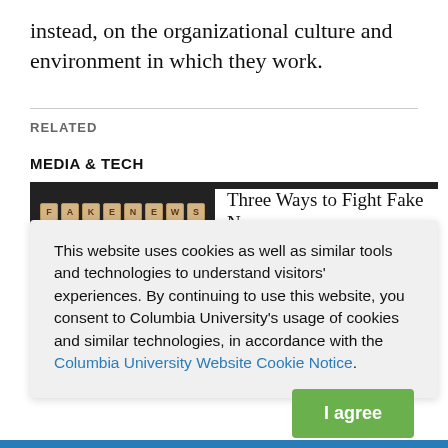instead, on the organizational culture and environment in which they work.
RELATED
MEDIA & TECH
[Figure (screenshot): Article card with scrabble-tile 'FAKE NEWS' image and headline 'Three Ways to Fight Fake News']
This website uses cookies as well as similar tools and technologies to understand visitors' experiences. By continuing to use this website, you consent to Columbia University's usage of cookies and similar technologies, in accordance with the Columbia University Website Cookie Notice.
[Figure (other): Green 'I agree' button for cookie consent]